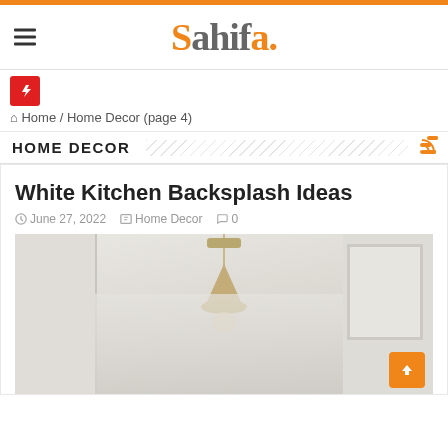Sahifa.
Home / Home Decor (page 4)
HOME DECOR
White Kitchen Backsplash Ideas
June 27, 2022  Home Decor  0
[Figure (photo): White kitchen interior with a brass/gold cone-shaped pendant light hanging from ceiling, marble backsplash, white cabinetry visible]